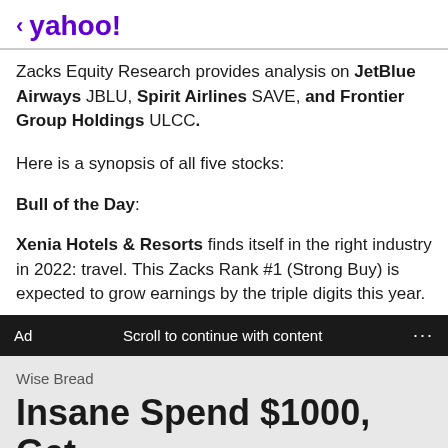< yahoo!
Zacks Equity Research provides analysis on JetBlue Airways JBLU, Spirit Airlines SAVE, and Frontier Group Holdings ULCC.
Here is a synopsis of all five stocks:
Bull of the Day:
Xenia Hotels & Resorts finds itself in the right industry in 2022: travel. This Zacks Rank #1 (Strong Buy) is expected to grow earnings by the triple digits this year.
Ad  Scroll to continue with content  ...
Wise Bread
Insane Spend $1000, Get $200 Card Bonus